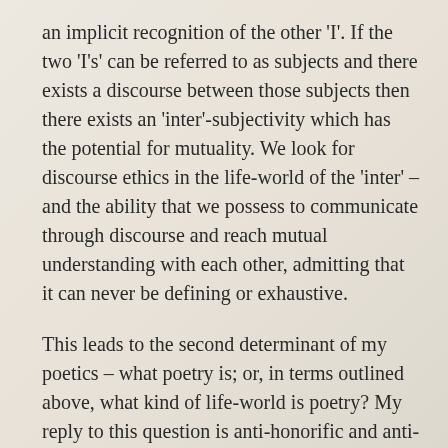an implicit recognition of the other 'I'. If the two 'I's' can be referred to as subjects and there exists a discourse between those subjects then there exists an 'inter'-subjectivity which has the potential for mutuality. We look for discourse ethics in the life-world of the 'inter' – and the ability that we possess to communicate through discourse and reach mutual understanding with each other, admitting that it can never be defining or exhaustive.
This leads to the second determinant of my poetics – what poetry is; or, in terms outlined above, what kind of life-world is poetry? My reply to this question is anti-honorific and anti-Romantic: it doesn't raise poetry to Parnassus above street-language or scientific journals; nor does my answer amount to stating what I feel poetry should be and that much of this or that falls below a measure based on preference.